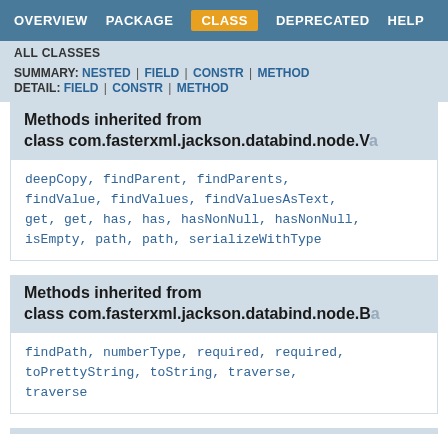OVERVIEW  PACKAGE  CLASS  DEPRECATED  HELP
ALL CLASSES
SUMMARY: NESTED | FIELD | CONSTR | METHOD
DETAIL: FIELD | CONSTR | METHOD
Methods inherited from class com.fasterxml.jackson.databind.node.Va
deepCopy, findParent, findParents, findValue, findValues, findValuesAsText, get, get, has, has, hasNonNull, hasNonNull, isEmpty, path, path, serializeWithType
Methods inherited from class com.fasterxml.jackson.databind.node.Ba
findPath, numberType, required, required, toPrettyString, toString, traverse, traverse